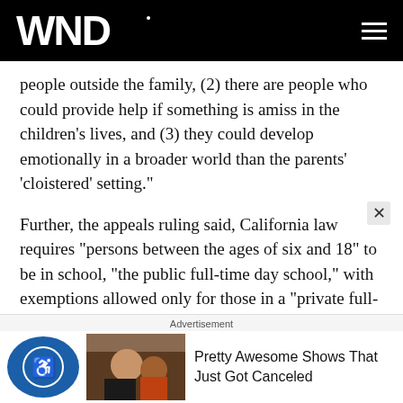WND
people outside the family, (2) there are people who could provide help if something is amiss in the children's lives, and (3) they could develop emotionally in a broader world than the parents' 'cloistered' setting."
Further, the appeals ruling said, California law requires "persons between the ages of six and 18" to be in school, "the public full-time day school," with exemptions allowed only for those in a "private full-time day school" or those "instructed by a tutor who holds a valid state teaching credential for the grade being taught."
Advertisement
Pretty Awesome Shows That Just Got Canceled